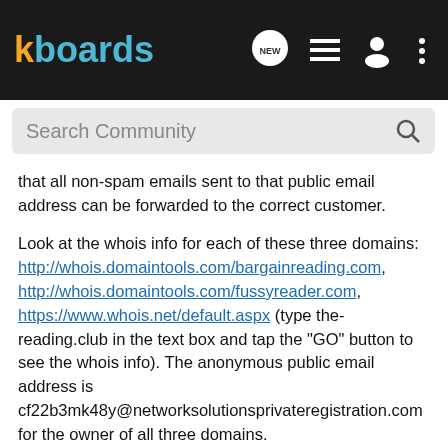kboards
that all non-spam emails sent to that public email address can be forwarded to the correct customer.
Look at the whois info for each of these three domains: http://whois.domaintools.com/bargainreading.com, http://whois.domaintools.com/fussyreader.com, https://www.whois.net/default.aspx (type the-reading.club in the text box and tap the "GO" button to see the whois info). The anonymous public email address is cf22b3mk48y@networksolutionsprivateregistration.com for the owner of all three domains.
Also note the expiration dates of these three domains: in 10 years for bargainreading.com and fussyreader.com and five years for the-reading.club (the max Network Solutions will allow a customer to purchase club domains at one time). As we can